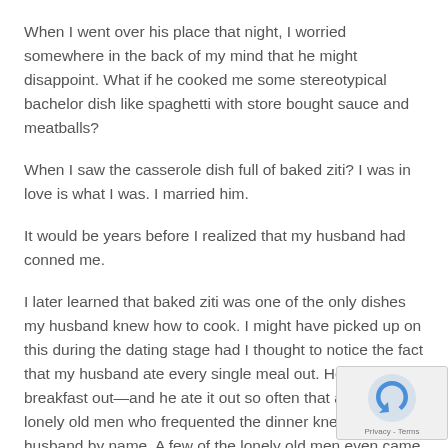When I went over his place that night, I worried somewhere in the back of my mind that he might disappoint. What if he cooked me some stereotypical bachelor dish like spaghetti with store bought sauce and meatballs?
When I saw the casserole dish full of baked ziti? I was in love is what I was. I married him.
It would be years before I realized that my husband had conned me.
I later learned that baked ziti was one of the only dishes my husband knew how to cook. I might have picked up on this during the dating stage had I thought to notice the fact that my husband ate every single meal out. He even ate breakfast out—and he ate it out so often that all of the lonely old men who frequented the dinner knew my husband by name. A few of the lonely old men even came to our wedding.